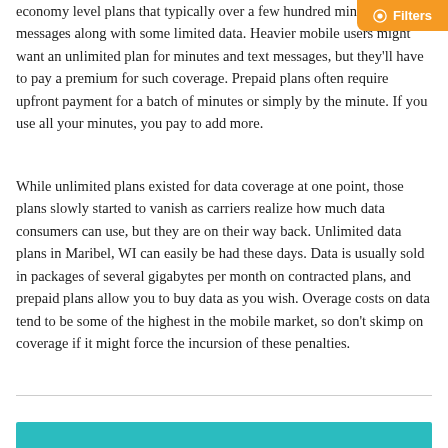economy level plans that typically over a few hundred minutes and text messages along with some limited data. Heavier mobile users might want an unlimited plan for minutes and text messages, but they'll have to pay a premium for such coverage. Prepaid plans often require upfront payment for a batch of minutes or simply by the minute. If you use all your minutes, you pay to add more.
While unlimited plans existed for data coverage at one point, those plans slowly started to vanish as carriers realize how much data consumers can use, but they are on their way back. Unlimited data plans in Maribel, WI can easily be had these days. Data is usually sold in packages of several gigabytes per month on contracted plans, and prepaid plans allow you to buy data as you wish. Overage costs on data tend to be some of the highest in the mobile market, so don't skimp on coverage if it might force the incursion of these penalties.